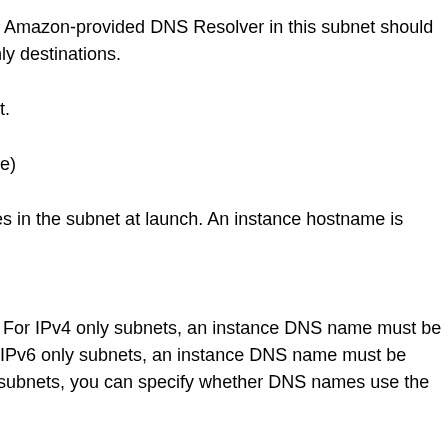e to the Amazon-provided DNS Resolver in this subnet should IPv4-only destinations.
r subnet.
structure)
nstances in the subnet at launch. An instance hostname is based ance.
tances. For IPv4 only subnets, an instance DNS name must be ss. For IPv6 only subnets, an instance DNS name must be l-stack subnets, you can specify whether DNS names use the nce ID.
> (boolean)
NS queries for instance hostnames with DNS A records.